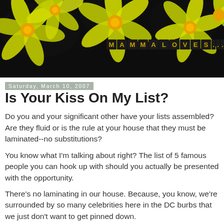[Figure (illustration): Blog header image with yellow daffodil flowers on black background and 'MAMMALOVES...' text in gold letters on black tile squares]
Saturday, March 10, 2007
Is Your Kiss On My List?
Do you and your significant other have your lists assembled? Are they fluid or is the rule at your house that they must be laminated--no substitutions?
You know what I'm talking about right? The list of 5 famous people you can hook up with should you actually be presented with the opportunity.
There's no laminating in our house. Because, you know, we're surrounded by so many celebrities here in the DC burbs that we just don't want to get pinned down.